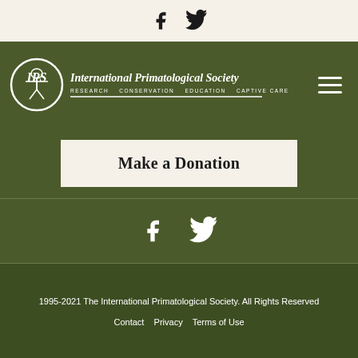Facebook and Twitter icons in top bar
[Figure (logo): International Primatological Society logo with circular emblem showing primate, text: International Primatological Society, RESEARCH CONSERVATION EDUCATION CAPTIVE CARE]
Make a Donation
[Figure (illustration): Facebook and Twitter social media icons in footer]
1995-2021 The International Primatological Society. All Rights Reserved
Contact   Privacy   Terms of Use